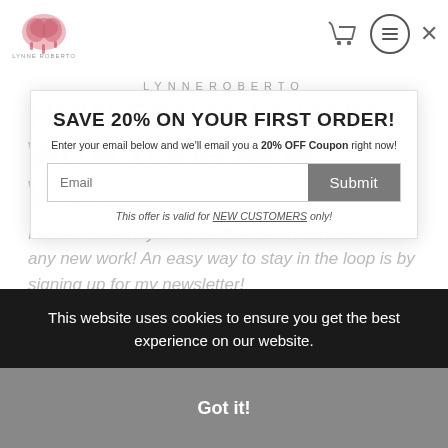[Figure (logo): Lynne Roberto artist logo/brand mark in top left]
LYNNEROBERTO
HOW CAN I KEEP UP WITH YOUR NEW WORK?
I would love for you to be the first to know about any new work! An easy way to stay in the loop is by signing up for my newsletter!
You can also follow me on my social media pages as I am constantly posting about new work!
SAVE 20% ON YOUR FIRST ORDER!
Enter your email below and we'll email you a 20% OFF Coupon right now!
This offer is valid for NEW CUSTOMERS only!
This website uses cookies to ensure you get the best experience on our website.
Got it!